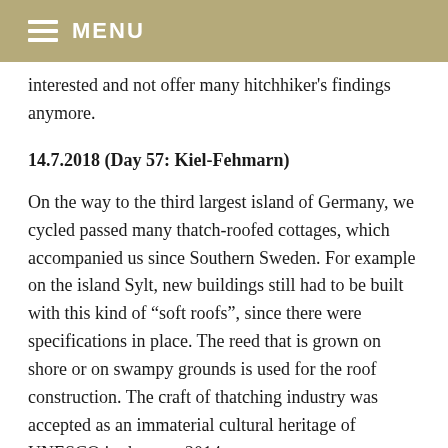MENU
interested and not offer many hitchhiker's findings anymore.
14.7.2018 (Day 57: Kiel-Fehmarn)
On the way to the third largest island of Germany, we cycled passed many thatch-roofed cottages, which accompanied us since Southern Sweden. For example on the island Sylt, new buildings still had to be built with this kind of “soft roofs”, since there were specifications in place. The reed that is grown on shore or on swampy grounds is used for the roof construction. The craft of thatching industry was accepted as an immaterial cultural heritage of UNESCO in the year 2014.